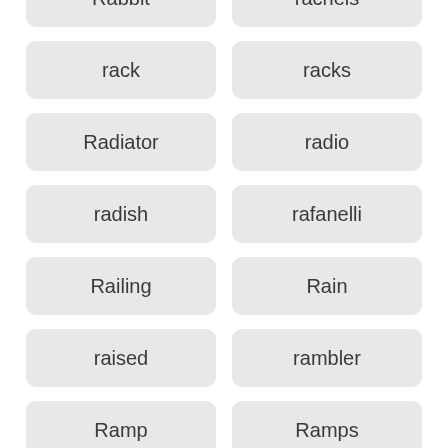Rabbit
rachels
rack
racks
Radiator
radio
radish
rafanelli
Railing
Rain
raised
rambler
Ramp
Ramps
ramsdens
ranch
rancher
randall
range
rate